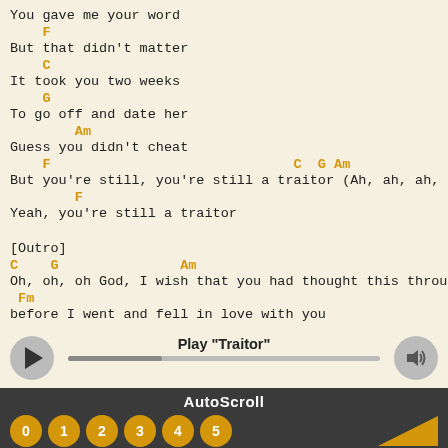You gave me your word
    F
But that didn't matter
    C
It took you two weeks
    G
To go off and date her
        Am
Guess you didn't cheat
    F                              C  G Am
But you're still, you're still a traitor (Ah, ah, ah, ah)
        F
Yeah, you're still a traitor

[Outro]
C    G               Am
Oh, oh, oh God, I wish that you had thought this through
 Fm
before I went and fell in love with you
Play "Traitor"
AutoScroll
0  1  2  3  4  5